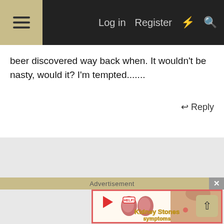Log in   Register
beer discovered way back when. It wouldn't be nasty, would it? I'm tempted.......
Reply
Advertisement
[Figure (illustration): Advertisement image showing cartoon kidney characters with 'HELP!' sign, and a person's back in pain. Text reads 'Kidney Stones symptoms']